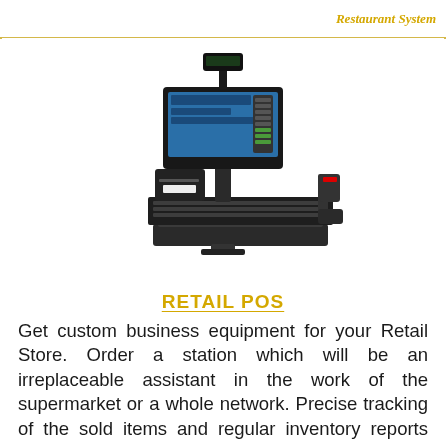Restaurant System
[Figure (photo): A retail POS (point of sale) terminal system including a touchscreen monitor, pole display, receipt printer, keyboard, cash drawer, and barcode scanner on a stand.]
RETAIL POS
Get custom business equipment for your Retail Store. Order a station which will be an irreplaceable assistant in the work of the supermarket or a whole network. Precise tracking of the sold items and regular inventory reports provision are one of those things that you need and we supply. Get your retail establishment under a